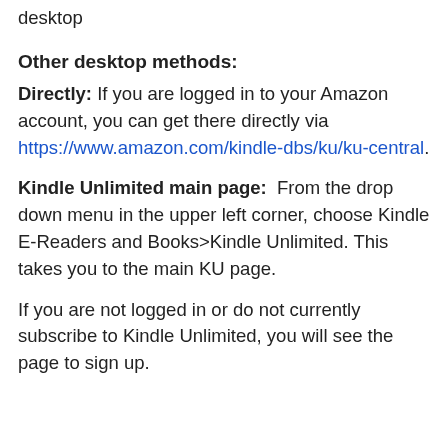desktop
Other desktop methods:
Directly: If you are logged in to your Amazon account, you can get there directly via https://www.amazon.com/kindle-dbs/ku/ku-central.
Kindle Unlimited main page:  From the drop down menu in the upper left corner, choose Kindle E-Readers and Books>Kindle Unlimited. This takes you to the main KU page.
If you are not logged in or do not currently subscribe to Kindle Unlimited, you will see the page to sign up.